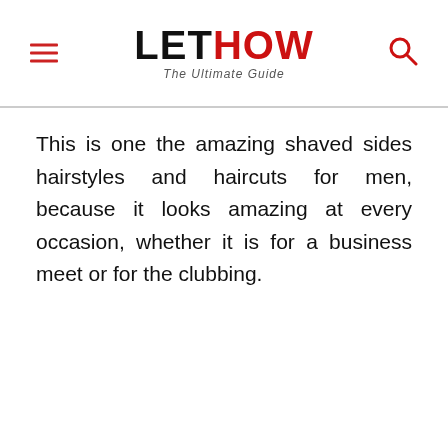LETHOW The Ultimate Guide
This is one the amazing shaved sides hairstyles and haircuts for men, because it looks amazing at every occasion, whether it is for a business meet or for the clubbing.